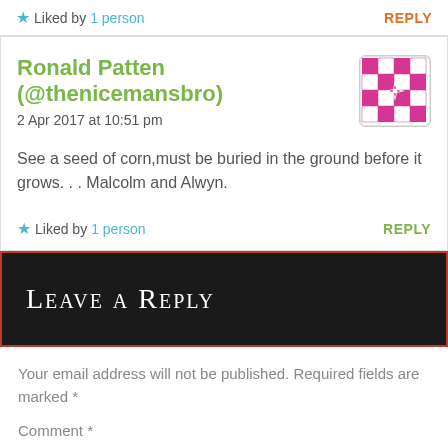★ Liked by 1 person    REPLY
Ronald Patten (@thenicemansbro)
2 Apr 2017 at 10:51 pm
See a seed of corn,must be buried in the ground before it grows. . . Malcolm and Alwyn.
★ Liked by 1 person    REPLY
LEAVE A REPLY
Your email address will not be published. Required fields are marked *
Comment *